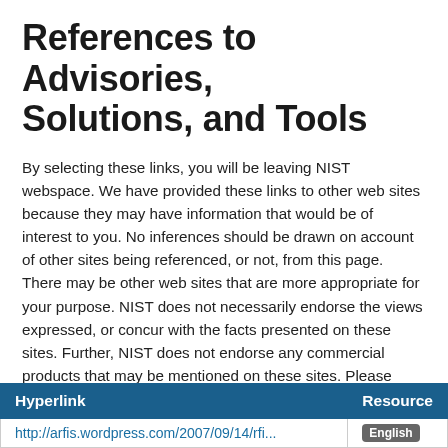References to Advisories, Solutions, and Tools
By selecting these links, you will be leaving NIST webspace. We have provided these links to other web sites because they may have information that would be of interest to you. No inferences should be drawn on account of other sites being referenced, or not, from this page. There may be other web sites that are more appropriate for your purpose. NIST does not necessarily endorse the views expressed, or concur with the facts presented on these sites. Further, NIST does not endorse any commercial products that may be mentioned on these sites. Please address comments about this page to nvd@nist.gov.
| Hyperlink | Resource |
| --- | --- |
| http://arfis.wordpress.com/2007/09/14/rfi... | English |